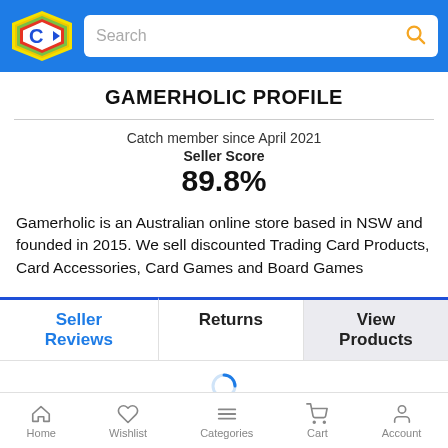[Figure (logo): Catch.com.au logo - yellow/green/red hexagon shape with blue C arrow icon]
Search
GAMERHOLIC PROFILE
Catch member since April 2021
Seller Score
89.8%
Gamerholic is an Australian online store based in NSW and founded in 2015. We sell discounted Trading Card Products, Card Accessories, Card Games and Board Games
Seller Reviews
Returns
View Products
Home  Wishlist  Categories  Cart  Account